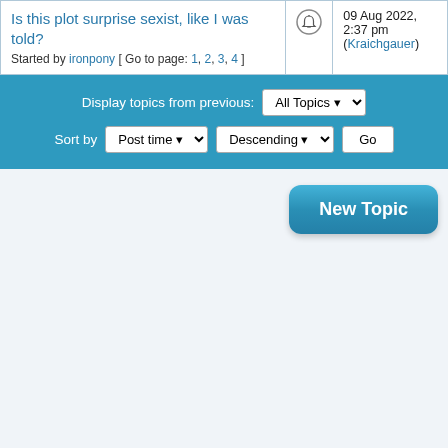| Topic |  | Last post |
| --- | --- | --- |
| Is this plot surprise sexist, like I was told?
Started by ironpony [ Go to page: 1, 2, 3, 4 ] | (bell icon) | 09 Aug 2022, 2:37 pm
(Kraichgauer) |
Display topics from previous: All Topics | Sort by Post time Descending Go
New Topic